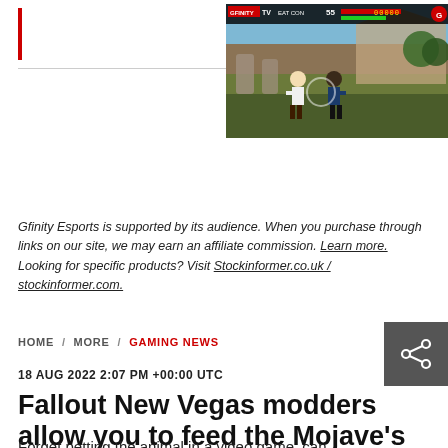[Figure (screenshot): Gfinity Esports website header with red vertical bar logo accent and horizontal divider. A video game screenshot (fighting game) is shown in the top-right corner, depicting two fighters in a martial-arts arena with a HUD showing health bars, score, and a Gfinity TV overlay.]
Gfinity Esports is supported by its audience. When you purchase through links on our site, we may earn an affiliate commission. Learn more. Looking for specific products? Visit Stockinformer.co.uk / stockinformer.com.
HOME / MORE / GAMING NEWS
18 AUG 2022 2:07 PM +00:00 UTC
Fallout New Vegas modders allow you to feed the Mojave's animals
Forget petting the animal in a video game, can